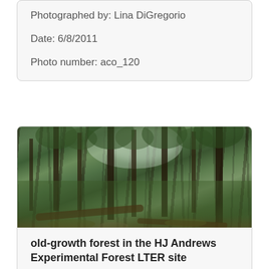Photographed by: Lina DiGregorio

Date: 6/8/2011

Photo number: aco_120
[Figure (photo): Photograph of old-growth forest in the HJ Andrews Experimental Forest LTER site, showing tall conifer trees, dense green canopy, fallen logs on the forest floor, and filtered sky light through the trees.]
old-growth forest in the HJ Andrews Experimental Forest LTER site